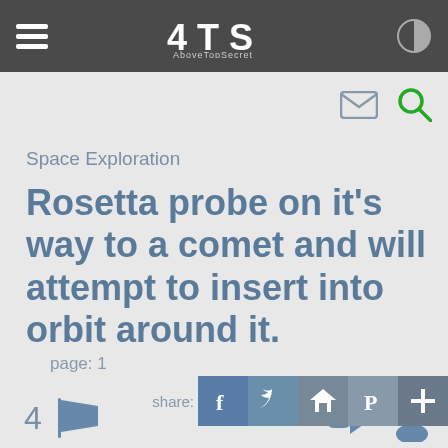ATS AboveTopSecret
Space Exploration
Rosetta probe on it's way to a comet and will attempt to insert into orbit around it.
page: 1
4
share: